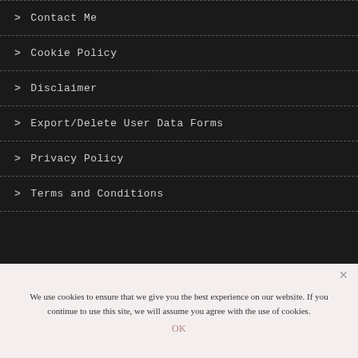> Contact Me
> Cookie Policy
> Disclaimer
> Export/Delete User Data Forms
> Privacy Policy
> Terms and Conditions
We use cookies to ensure that we give you the best experience on our website. If you continue to use this site, we will assume you agree with the use of cookies.
OK